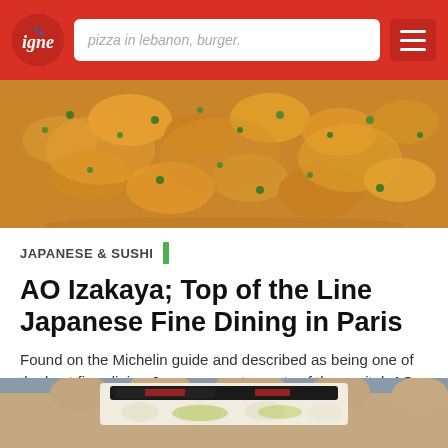pizza in lebanon, burger.
[Figure (photo): Close-up of Japanese shrimp/prawn dish with orange sauce and green onion garnish]
JAPANESE & SUSHI
AO Izakaya; Top of the Line Japanese Fine Dining in Paris
Found on the Michelin guide and described as being one of the best fine-dining Japanese restaurants of the capital, AO Isakaya welcomes you in a classy ambiance, warm lighting, and upscale decor...
November 24, 2019 | Recommended | Paris
[Figure (photo): Hands holding a sushi/Japanese food item wrapped in nori, partial view from bottom of page]